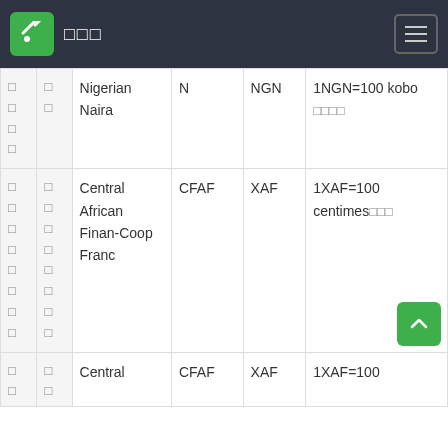□□□
|  |  | Name | Symbol | Code | Info |
| --- | --- | --- | --- | --- | --- |
| □
□
□
□ | □
□ | Nigerian Naira | N | NGN | 1NGN=100 kobo
□□□□ |
| □
□
□
□
□
□
□
□ | □
□
□
□
□
□
□
□ | Central African Finan-Coop Franc | CFAF | XAF | 1XAF=100 centimes□□□ |
| □
□ | □
□ | Central | CFAF | XAF | 1XAF=100 |